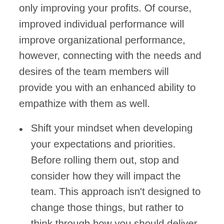only improving your profits. Of course, improved individual performance will improve organizational performance, however, connecting with the needs and desires of the team members will provide you with an enhanced ability to empathize with them as well.
Shift your mindset when developing your expectations and priorities. Before rolling them out, stop and consider how they will impact the team. This approach isn't designed to change those things, but rather to think through how you should deliver them. Approaching expectations and priorities with this type of focus will help you connect with the team to present things in the best ways so